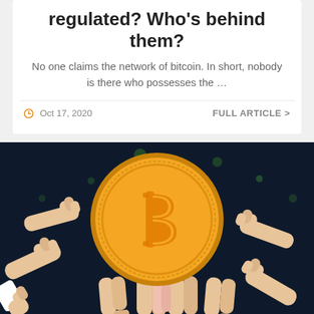regulated? Who's behind them?
No one claims the network of bitcoin. In short, nobody is there who possesses the …
Oct 17, 2020   FULL ARTICLE >
[Figure (illustration): Illustration of multiple hands reaching up to hold a large golden Bitcoin coin against a dark background with green bokeh dots]